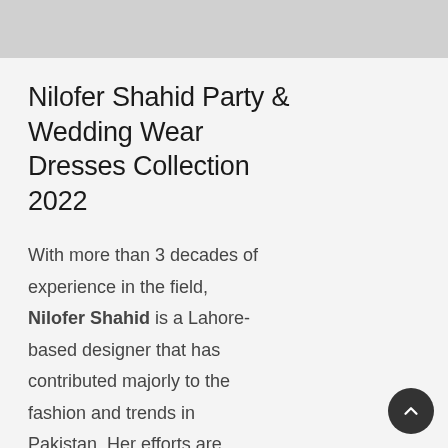Nilofer Shahid Party & Wedding Wear Dresses Collection 2022
With more than 3 decades of experience in the field, Nilofer Shahid is a Lahore-based designer that has contributed majorly to the fashion and trends in Pakistan. Her efforts are recognized even internationally and she has been awarded Grade de Chevalier by the French government, which is the